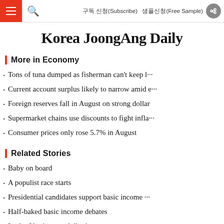구독 신청(Subscribe)   샘플신청(Free Sample)
Korea JoongAng Daily
More in Economy
Tons of tuna dumped as fisherman can't keep l···
Current account surplus likely to narrow amid e···
Foreign reserves fall in August on strong dollar
Supermarket chains use discounts to fight infla···
Consumer prices only rose 5.7% in August
Related Stories
Baby on board
A populist race starts
Presidential candidates support basic income ···
Half-baked basic income debates
Lack of logic — and dignity